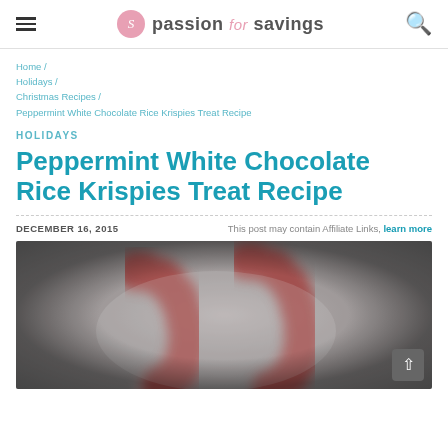passion for savings
Home / Holidays / Christmas Recipes / Peppermint White Chocolate Rice Krispies Treat Recipe
HOLIDAYS
Peppermint White Chocolate Rice Krispies Treat Recipe
DECEMBER 16, 2015  This post may contain Affiliate Links, learn more
[Figure (photo): Blurred close-up photo of red and white candy canes on a gray background]